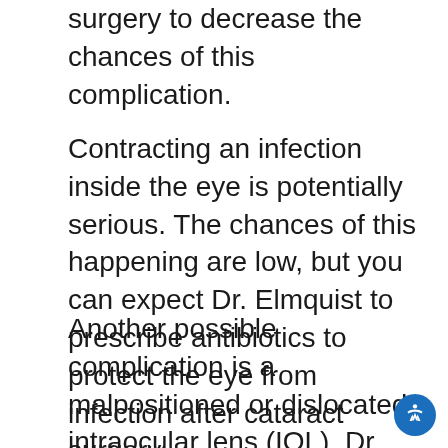surgery to decrease the chances of this complication.
Contracting an infection inside the eye is potentially serious. The chances of this happening are low, but you can expect Dr. Elmquist to prescribe antibiotics to protect the eye from infection after cataract surgery.
Another possible complication is a malpositioned or dislocated intraocular lens (IOL). Dr. Elmquist makes every attempt to ensure that the IOL is positioned correctly within the “capsular bag” which contained the cloudy lens. But the capsular bag is very thin — about the thickness of a single red blood